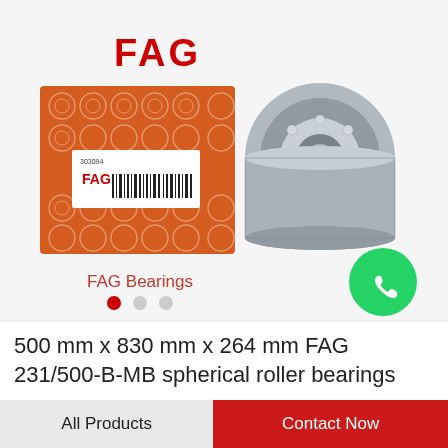[Figure (photo): FAG logo in bold red text at the top center of product listing page]
[Figure (photo): FAG branded orange bearing box next to a metallic tapered roller bearing component on light gray background]
FAG Bearings
[Figure (logo): WhatsApp circular green icon with phone handset symbol]
WhatsApp Online
500 mm x 830 mm x 264 mm FAG 231/500-B-MB spherical roller bearings
All Products
Contact Now